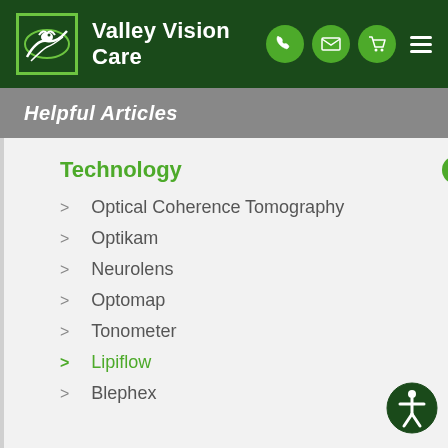Valley Vision Care
Helpful Articles
Technology
Optical Coherence Tomography
Optikam
Neurolens
Optomap
Tonometer
Lipiflow
Blephex